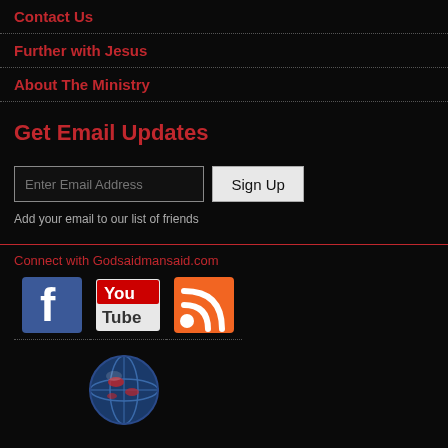Contact Us
Further with Jesus
About The Ministry
Get Email Updates
Enter Email Address [input] Sign Up
Add your email to our list of friends
Connect with Godsaidmansaid.com
[Figure (logo): Facebook logo icon]
[Figure (logo): YouTube logo icon]
[Figure (logo): RSS feed icon]
[Figure (illustration): Globe/world icon with red and white details]